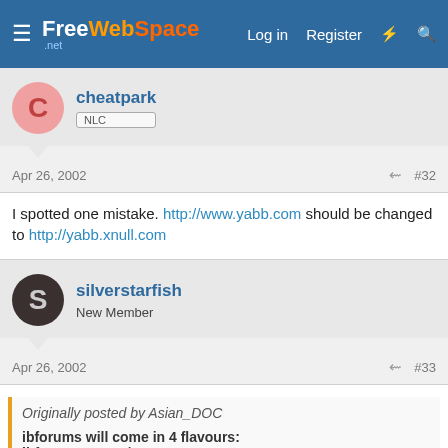FreeWebSpace.net — Log in | Register
cheatpark NLC
Apr 26, 2002 #32
I spotted one mistake. http://www.yabb.com should be changed to http://yabb.xnull.com
silverstarfish New Member
Apr 26, 2002 #33
Originally posted by Asian_DOC
ibforums will come in 4 flavours:
ibforums = PHP/MYSQL
ibf.perl = Perl/MYSQL
ibf.lite = Perl/Flat-Database (less features)